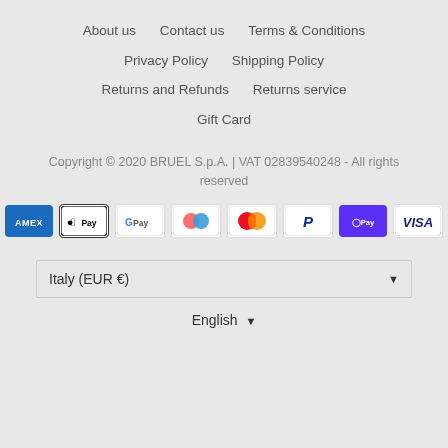About us
Contact us
Terms & Conditions
Privacy Policy
Shipping Policy
Returns and Refunds
Returns service
Gift Card
Copyright © 2020 BRUEL S.p.A. | VAT 02839540248 - All rights reserved
[Figure (logo): Row of payment method icons: American Express, Apple Pay, Google Pay, a two-circle icon, Mastercard, PayPal, Shop Pay (OPay), Visa]
Italy (EUR €)
English